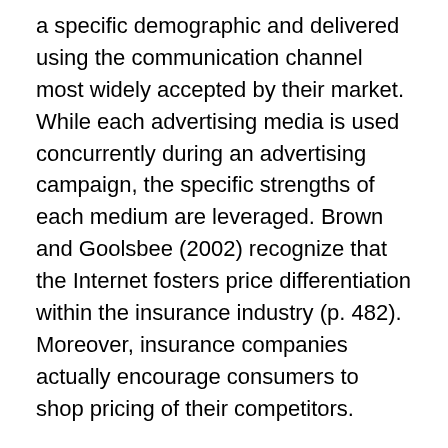a specific demographic and delivered using the communication channel most widely accepted by their market. While each advertising media is used concurrently during an advertising campaign, the specific strengths of each medium are leveraged. Brown and Goolsbee (2002) recognize that the Internet fosters price differentiation within the insurance industry (p. 482). Moreover, insurance companies actually encourage consumers to shop pricing of their competitors.
Insurance companies use print media and electronic media to enforce their brand and drive traffic to their web site. The corporate web site is positioned to be their best salesperson on their best day. The Internet has become a virtual extension to many businesses. In addition to a traditional storefront, many insurance companies created online presences to increase customer brand awareness and